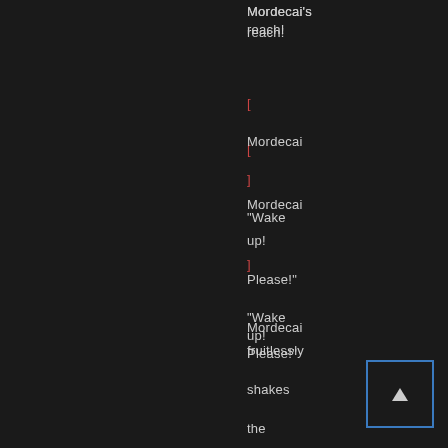Mordecai's reach!
[
Mordecai
]
"Wake up! Please!"
Mordecai fruitlessly shakes the bodies of any patient he